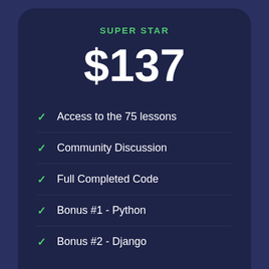SUPER STAR
$137
Access to the 75 lessons
Community Discussion
Full Completed Code
Bonus #1 - Python
Bonus #2 - Django